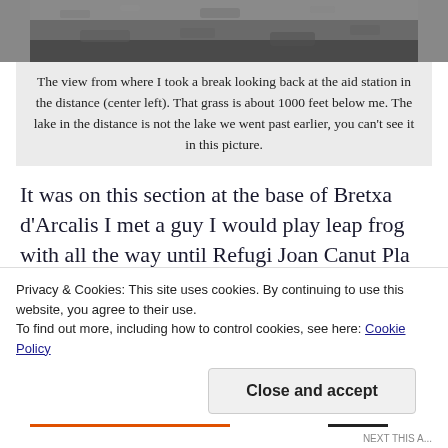[Figure (photo): Landscape photo of rocky mountain terrain viewed from high elevation]
The view from where I took a break looking back at the aid station in the distance (center left). That grass is about 1000 feet below me. The lake in the distance is not the lake we went past earlier, you can't see it in this picture.
It was on this section at the base of Bretxa d'Arcalis I met a guy I would play leap frog with all the way until Refugi Joan Canut Pla de l'Estany the third aid station. He had his bib folded up so
Privacy & Cookies: This site uses cookies. By continuing to use this website, you agree to their use.
To find out more, including how to control cookies, see here: Cookie Policy
Close and accept